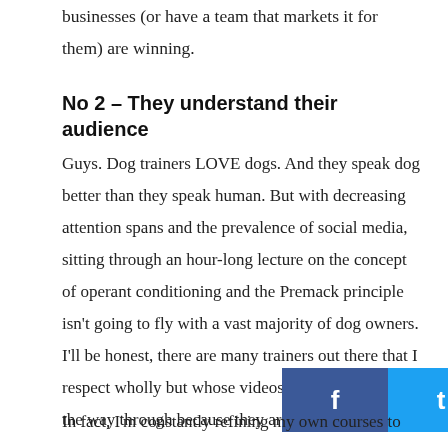businesses (or have a team that markets it for them) are winning.
No 2 – They understand their audience
Guys. Dog trainers LOVE dogs. And they speak dog better than they speak human. But with decreasing attention spans and the prevalence of social media, sitting through an hour-long lecture on the concept of operant conditioning and the Premack principle isn't going to fly with a vast majority of dog owners. I'll be honest, there are many trainers out there that I respect wholly but whose videos I won't watch all the way through because they are just, too, long.
[Figure (infographic): Social media sharing buttons: Facebook (blue), Twitter (light blue), LinkedIn (dark blue), Google+ (red), Pinterest (dark red)]
In fact, I'm constantly refining my own courses to